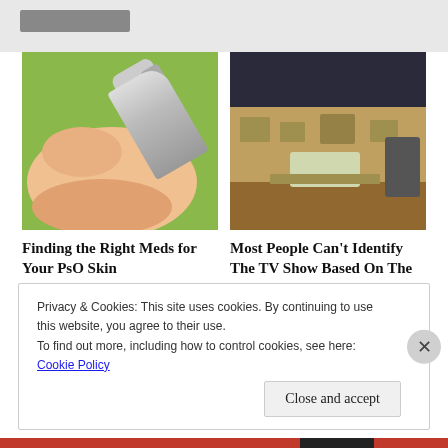[Figure (photo): Hand with cream tube being squeezed onto palm, green background]
[Figure (photo): Interior of a TV show set, living room with fireplace and furniture]
Finding the Right Meds for Your PsO Skin
HealthCentral.com
Most People Can't Identify The TV Show Based On The Empty S...
WarpedSpeed
Privacy & Cookies: This site uses cookies. By continuing to use this website, you agree to their use.
To find out more, including how to control cookies, see here: Cookie Policy
Close and accept